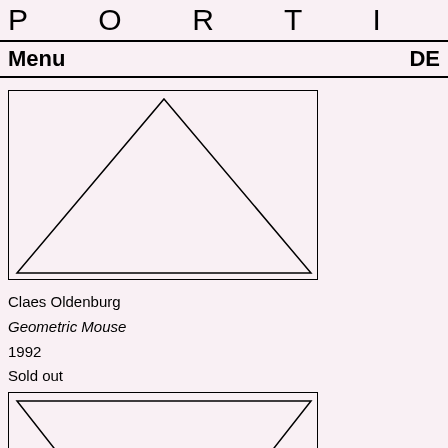PORTIKUS
Menu  DE
[Figure (illustration): Line drawing of a triangle (upward-pointing) inside a rectangular border, on a light pink background.]
Claes Oldenburg
Geometric Mouse
1992
Sold out
[Figure (illustration): Line drawing of a downward-pointing triangle (inverted) inside a rectangular border, partially visible at the bottom of the page.]